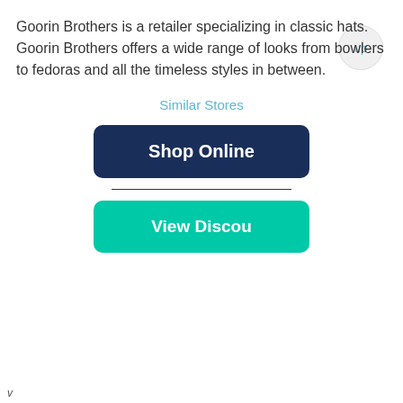Goorin Brothers is a retailer specializing in classic hats. Goorin Brothers offers a wide range of looks from bowlers to fedoras and all the timeless styles in between.
Similar Stores
Shop Online
View Discou
[Figure (other): Product card showing 69% Similar label with white image area above and vote icons (0, 0) below]
v